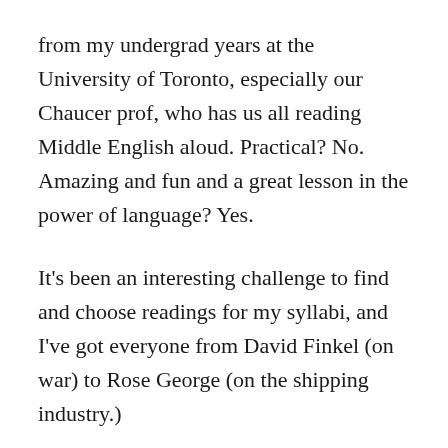from my undergrad years at the University of Toronto, especially our Chaucer prof, who has us all reading Middle English aloud. Practical? No. Amazing and fun and a great lesson in the power of language? Yes.
It's been an interesting challenge to find and choose readings for my syllabi, and I've got everyone from David Finkel (on war) to Rose George (on the shipping industry.)
I enjoy teaching and know that a terrific teacher can forever inspire a student and alter their course, just as a rude, dismissive one can crush young idea(l)s very easily. It's a challenge to balance cracking the whip for excellence with scaring the shit out of everyone; one